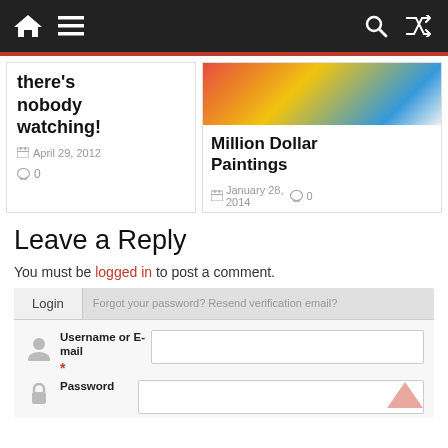[Figure (screenshot): Navigation bar with home icon, menu icon, search icon, and shuffle icon on dark background]
there’s nobody watching!
April 29, 2012
0
[Figure (photo): Colorful painting thumbnail with red, yellow, blue colors]
Million Dollar Paintings
January 28, 2014
0
Leave a Reply
You must be logged in to post a comment.
Login
Forgot your password? Resend verification email?
Username or E-mail
Password